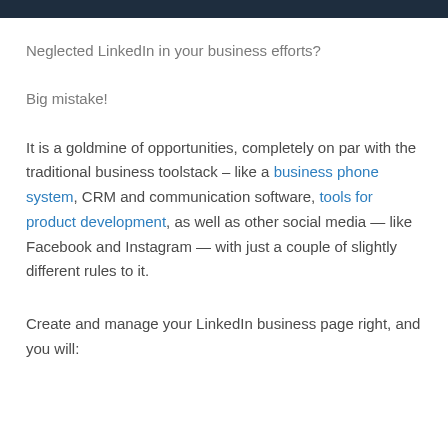Neglected LinkedIn in your business efforts?
Big mistake!
It is a goldmine of opportunities, completely on par with the traditional business toolstack – like a business phone system, CRM and communication software, tools for product development, as well as other social media — like Facebook and Instagram — with just a couple of slightly different rules to it.
Create and manage your LinkedIn business page right, and you will: